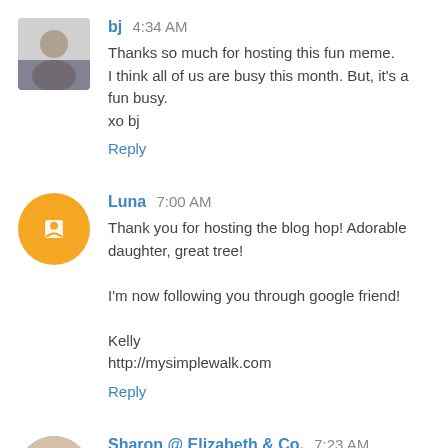bj 4:34 AM
Thanks so much for hosting this fun meme.
I think all of us are busy this month. But, it's a fun busy.
xo bj
Reply
Luna 7:00 AM
Thank you for hosting the blog hop! Adorable daughter, great tree!

I'm now following you through google friend!

Kelly
http://mysimplewalk.com
Reply
Sharon @ Elizabeth & Co. 7:23 AM